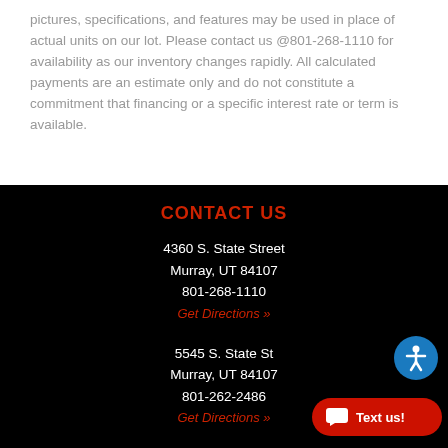pictures, specifications, and features may be used in place of actual units on our lot. Please contact us @801-268-1110 for availability as our inventory changes rapidly. All calculated payments are an estimate only and do not constitute a commitment that financing or a specific interest rate or term is available.
CONTACT US
4360 S. State Street
Murray, UT 84107
801-268-1110
Get Directions »
5545 S. State St
Murray, UT 84107
801-262-2486
Get Directions »